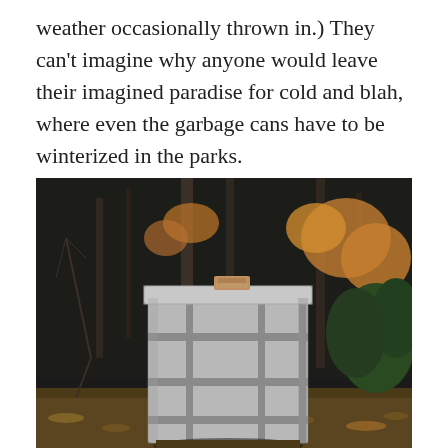weather occasionally thrown in.) They can't imagine why anyone would leave their imagined paradise for cold and blah, where even the garbage cans have to be winterized in the parks.
[Figure (photo): A garbage can in a park wrapped in silver/grey tarp material secured with grey straps, standing in front of bare winter trees and some evergreen shrubs with fallen autumn leaves on the ground.]